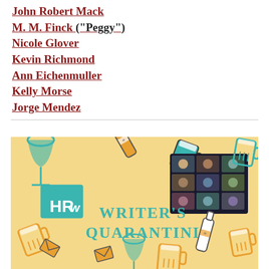John Robert Mack
M. M. Finck ("Peggy")
Nicole Glover
Kevin Richmond
Ann Eichenmuller
Kelly Morse
Jorge Mendez
[Figure (illustration): Writer's Quarantini event banner with a warm yellow/cream background featuring illustrated drink icons (wine glasses, beer mugs, whiskey bottles) in teal, orange, and white. An HRW logo appears on a teal book. Text reads WRITER'S QUARANTINI in teal letters. A screenshot of a video call with multiple participants is embedded in the upper right.]